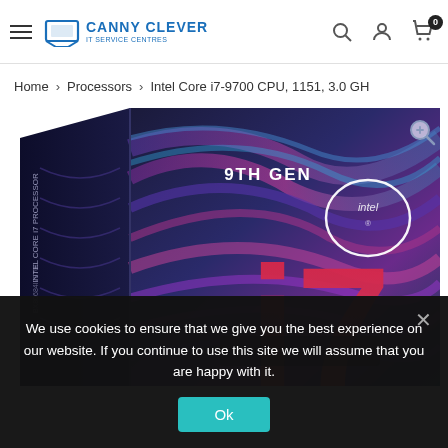Canny Clever IT Service Centres
Home > Processors > Intel Core i7-9700 CPU, 1151, 3.0 GH
[Figure (photo): Intel Core i7 9th Gen processor retail box, showing colorful blue/purple wave design with '9TH GEN' text, Intel logo, and large 'i7' branding. Magnify icon in top right corner.]
We use cookies to ensure that we give you the best experience on our website. If you continue to use this site we will assume that you are happy with it.